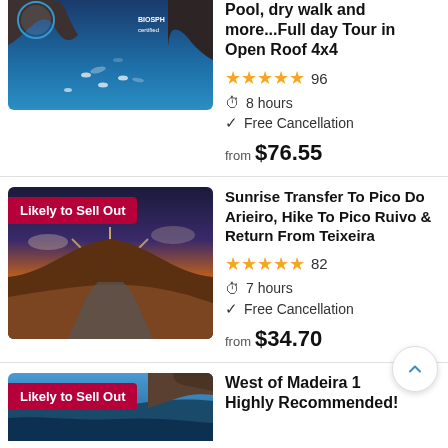[Figure (photo): Aerial view of people swimming in deep blue ocean water near rocky cliffs, with a blue circular logo badge and BIOSPHERE certified text.]
Pool, dry walk and more...Full day Tour in Open Roof 4x4
★★★★★ 96 | 8 hours | Free Cancellation | from $76.55
[Figure (photo): Scenic sunrise photo over mountain ridgeline with road, warm golden light and clouds below peaks. Badge: Likely to Sell Out]
Sunrise Transfer To Pico Do Arieiro, Hike To Pico Ruivo & Return From Teixeira
★★★★★ 82 | 7 hours | Free Cancellation | from $34.70
[Figure (photo): Partial view of coastal Madeira scenery with blue water. Badge: Likely to Sell Out]
West of Madeira 1 Highly Recommended!